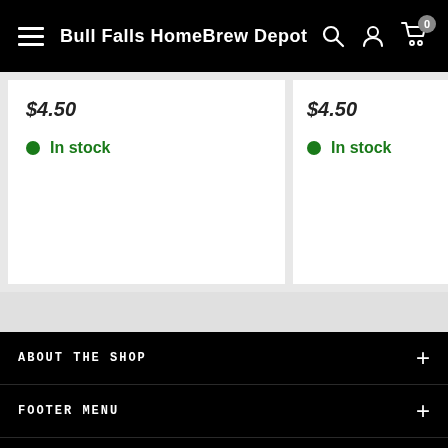Bull Falls HomeBrew Depot
$4.50 • In stock
$4.50 • In stock
ABOUT THE SHOP
FOOTER MENU
Follow Us